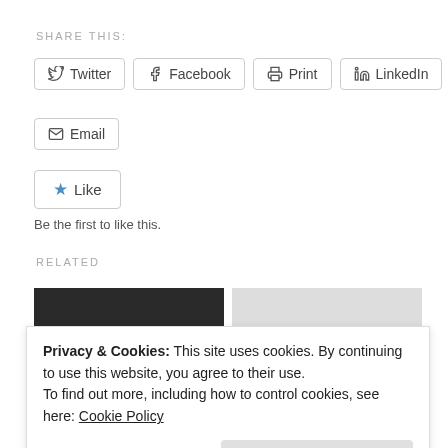SHARE THIS:
Twitter | Facebook | Print | LinkedIn | Pinterest | Email
Like  Be the first to like this.
RELATED
[Figure (screenshot): Typewriter image with text 'Reblog and Featuring . .']
[Figure (screenshot): Sunday Book Reviews logo with book heart shape]
D.G Kaye | Stevie
by D.G. Kaye
Privacy & Cookies: This site uses cookies. By continuing to use this website, you agree to their use.
To find out more, including how to control cookies, see here: Cookie Policy
Close and accept